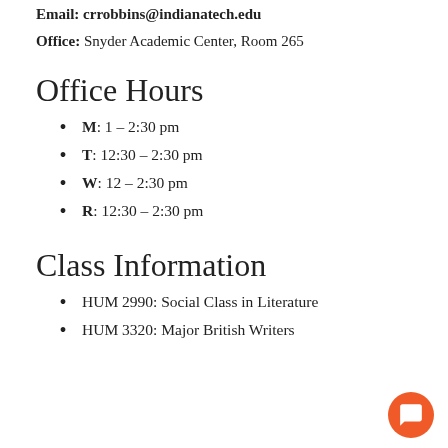Email: crrobbins@indianatech.edu
Office: Snyder Academic Center, Room 265
Office Hours
M: 1 – 2:30 pm
T: 12:30 – 2:30 pm
W: 12 – 2:30 pm
R: 12:30 – 2:30 pm
Class Information
HUM 2990: Social Class in Literature
HUM 3320: Major British Writers